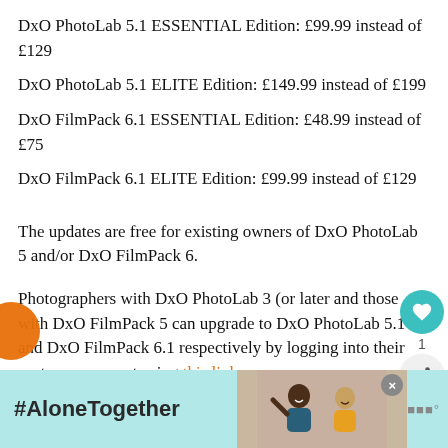DxO PhotoLab 5.1 ESSENTIAL Edition: £99.99 instead of £129
DxO PhotoLab 5.1 ELITE Edition: £149.99 instead of £199
DxO FilmPack 6.1 ESSENTIAL Edition: £48.99 instead of £75
DxO FilmPack 6.1 ELITE Edition: £99.99 instead of £129
The updates are free for existing owners of DxO PhotoLab 5 and/or DxO FilmPack 6.
Photographers with DxO PhotoLab 3 (or later and those with DxO FilmPack 5 can upgrade to DxO PhotoLab 5.1 and DxO FilmPack 6.1 respectively by logging into their customer account using this link.
[Figure (screenshot): Ad banner with teal background showing #AloneTogether hashtag text and a photo of two people, with a close button and logo]
[Figure (infographic): Sidebar UI elements: teal heart/like button with count 1, and a share button]